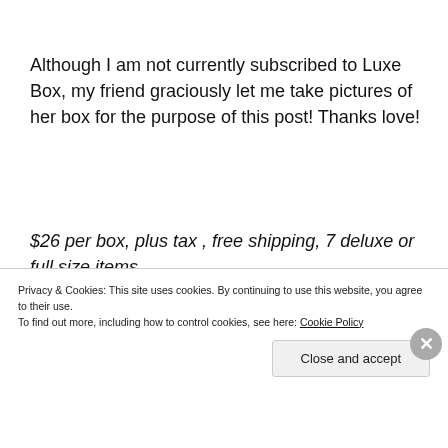Although I am not currently subscribed to Luxe Box, my friend graciously let me take pictures of her box for the purpose of this post! Thanks love!
$26 per box, plus tax , free shipping, 7 deluxe or full size items.
[Figure (photo): Partial view of a Luxe Box package showing tan and teal colored sections with rounded corners]
Privacy & Cookies: This site uses cookies. By continuing to use this website, you agree to their use.
To find out more, including how to control cookies, see here: Cookie Policy
Close and accept